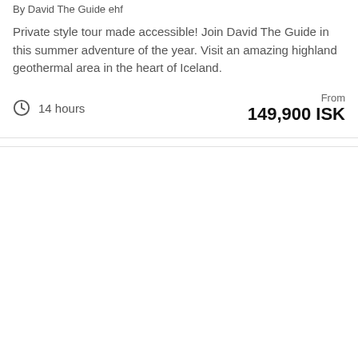By David The Guide ehf
Private style tour made accessible! Join David The Guide in this summer adventure of the year. Visit an amazing highland geothermal area in the heart of Iceland.
14 hours
From
149,900 ISK